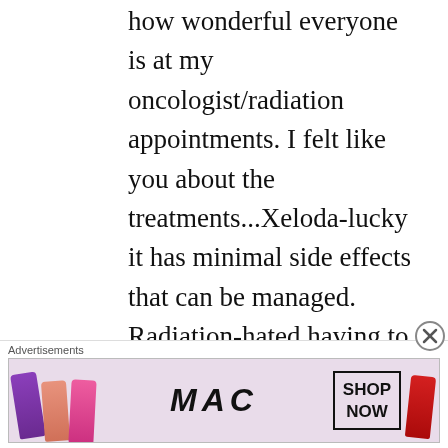how wonderful everyone is at my oncologist/radiation appointments. I felt like you about the treatments...Xeloda-lucky it has minimal side effects that can be managed. Radiation-hated having to hold the water in my bladder while having something press on it but not a big deal...... until, the last week! Wowza! I had a scare because my images showed thickening of my uterine wall so I have also had biopsies and ultrasounds and a D and C. The uterine wall got even thicker during radiation but
Advertisements
[Figure (photo): MAC cosmetics advertisement showing lipsticks in purple, peach, pink and red colors with MAC logo and SHOP NOW button]